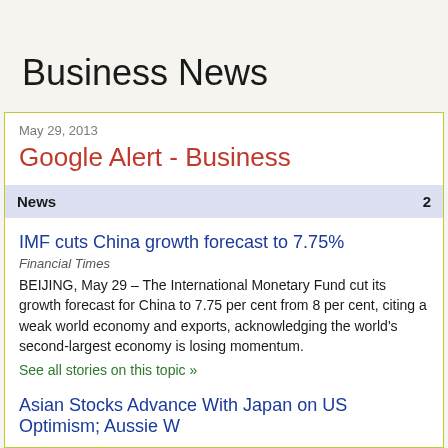Business News
May 29, 2013
Google Alert - Business
News  25
IMF cuts China growth forecast to 7.75%
Financial Times
BEIJING, May 29 – The International Monetary Fund cut its growth forecast for China to 7.75 per cent from 8 per cent, citing a weak world economy and exports, adding the world's second-largest economy is losing momentum.
See all stories on this topic »
Asian Stocks Advance With Japan on US Optimism; Aussie W...